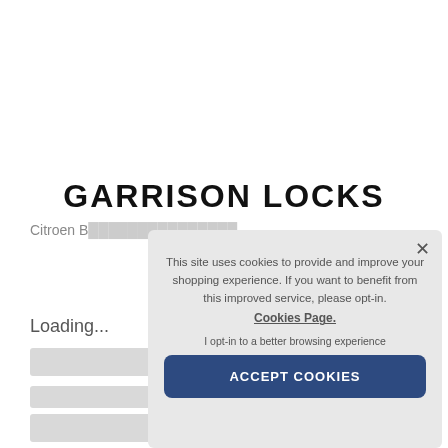GARRISON LOCKS
Citroen B...
Loading...
[Figure (screenshot): Cookie consent overlay popup with text: 'This site uses cookies to provide and improve your shopping experience. If you want to benefit from this improved service, please opt-in. Cookies Page. I opt-in to a better browsing experience' and an ACCEPT COOKIES button. Close button (×) in top right corner.]